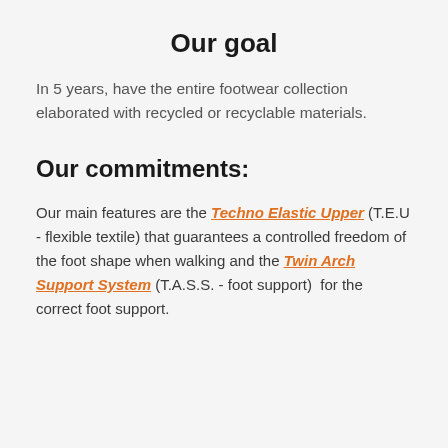Our goal
In 5 years, have the entire footwear collection elaborated with recycled or recyclable materials.
Our commitments:
Our main features are the Techno Elastic Upper (T.E.U - flexible textile) that guarantees a controlled freedom of the foot shape when walking and the Twin Arch Support System (T.A.S.S. - foot support) for the correct foot support.